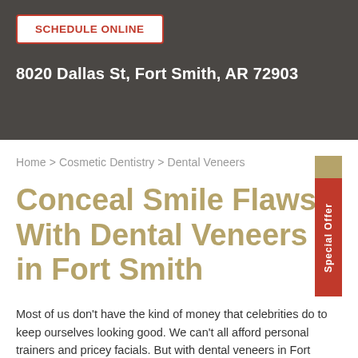SCHEDULE ONLINE
8020 Dallas St, Fort Smith, AR 72903
Home > Cosmetic Dentistry > Dental Veneers
Conceal Smile Flaws With Dental Veneers in Fort Smith
Most of us don't have the kind of money that celebrities do to keep ourselves looking good. We can't all afford personal trainers and pricey facials. But with dental veneers in Fort Smith, you can use the same cosmetic dental treatment that many celebrities do to achieve a stunning smile.